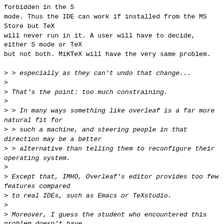forbidden in the S
mode. Thus the IDE can work if installed from the MS
Store but TeX
will never run in it. A user will have to decide,
either S mode or TeX
but not both. MiKTeX will have the very same problem.
> > especially as they can't undo that change...
>
> That's the point: too much constraining.
>
> > In many ways something like overleaf is a far more
natural fit for
> > such a machine, and steering people in that
direction may be a better
> > alternative than telling them to reconfigure their
operating system.
>
> Except that, IMHO, Overleaf's editor provides too few
features compared
> to real IDEs, such as Emacs or TeXstudio.
>
> Moreover, I guess the student who encountered this
problem doesn't have
> enough money for an Internet subscription with an
Internet Service
> Provider and has only a limited Internet access with
his cell phone.
> --
There may be free services for running TeX, I think
that TeXorWeb is